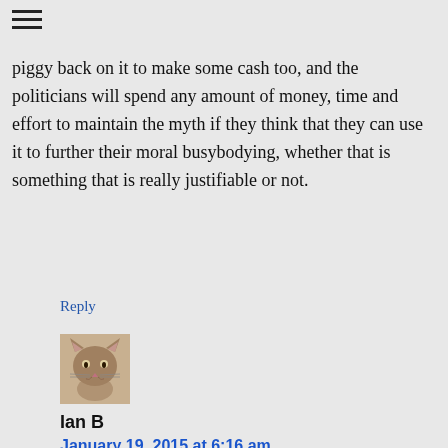piggy back on it to make some cash too, and the politicians will spend any amount of money, time and effort to maintain the myth if they think that they can use it to further their moral busybodying, whether that is something that is really justifiable or not.
Reply
[Figure (photo): Avatar image of a cat (tabby/long-haired)]
Ian B
January 19, 2015 at 6:16 am
He was prosecuted because he didn’t “expose” anything; he abducted a girl himself, then wrote it up as if somebody else had done it. If he were interested in reportage, he’d have found a real case but, then as now, the real thing was rather thin on the ground. It was on behalf of the social